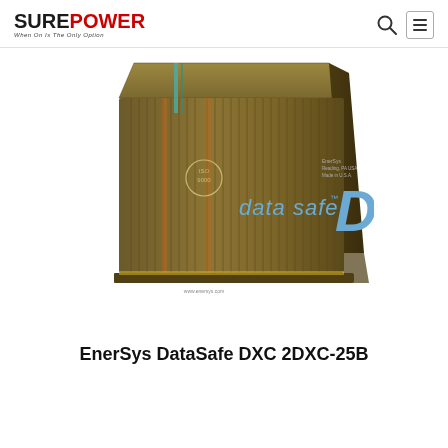SurePower — When On Is The Only Option
[Figure (photo): EnerSys DataSafe DXC battery product photo — large dark olive/gold colored battery pack with ribbed casing, showing 'data safe D' logo in blue text on the side, ISO 9000 certification mark visible, photographed from a slight angle showing the top and front face.]
EnerSys DataSafe DXC 2DXC-25B